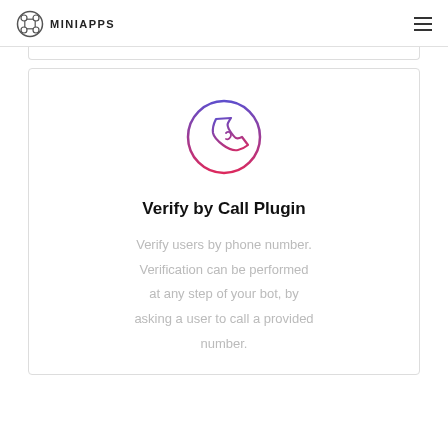MINIAPPS
[Figure (logo): Circular phone handset icon with gradient from purple/blue at top to pink/red at bottom, inside a circle outline]
Verify by Call Plugin
Verify users by phone number. Verification can be performed at any step of your bot, by asking a user to call a provided number.